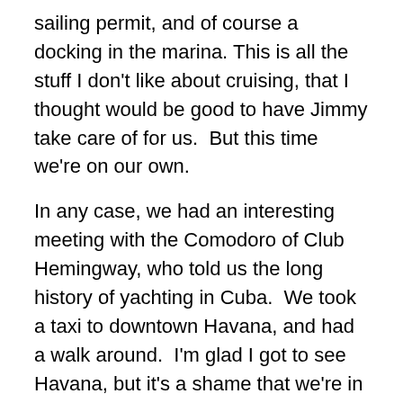sailing permit, and of course a docking in the marina. This is all the stuff I don't like about cruising, that I thought would be good to have Jimmy take care of for us.  But this time we're on our own.
In any case, we had an interesting meeting with the Comodoro of Club Hemingway, who told us the long history of yachting in Cuba.  We took a taxi to downtown Havana, and had a walk around.  I'm glad I got to see Havana, but it's a shame that we're in a hurry.  We hope to be ready to leave in the morning.
Tuesday, 20 Jan 2015
Although we spent hours tracking down our problem, in the end it was just a loose wire connection to a terminal strip deep in our electrical locker.  We managed to get underway around noon, and now we're sailing westward